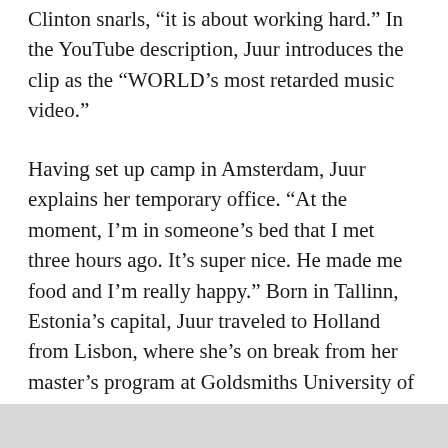Clinton snarls, “it is about working hard.” In the YouTube description, Juur introduces the clip as the “WORLD’s most retarded music video.”
Having set up camp in Amsterdam, Juur explains her temporary office. “At the moment, I’m in someone’s bed that I met three hours ago. It’s super nice. He made me food and I’m really happy.” Born in Tallinn, Estonia’s capital, Juur traveled to Holland from Lisbon, where she’s on break from her master’s program at Goldsmiths University of London. “I have a long way to go to say I’m actually from London. I’m coming and going,” she says. It’s easy to imagine her taking temporary residence in a parade of strange beds; a disco-loving scholar flying